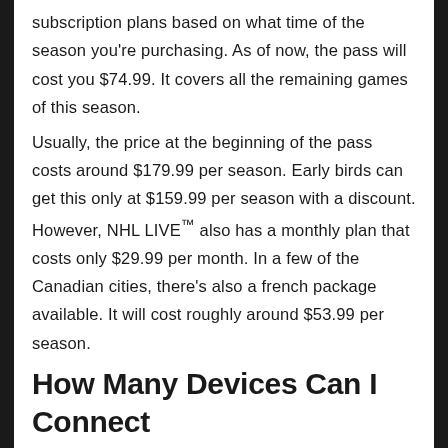subscription plans based on what time of the season you're purchasing. As of now, the pass will cost you $74.99. It covers all the remaining games of this season.
Usually, the price at the beginning of the pass costs around $179.99 per season. Early birds can get this only at $159.99 per season with a discount. However, NHL LIVE™ also has a monthly plan that costs only $29.99 per month. In a few of the Canadian cities, there's also a french package available. It will cost roughly around $53.99 per season.
How Many Devices Can I Connect